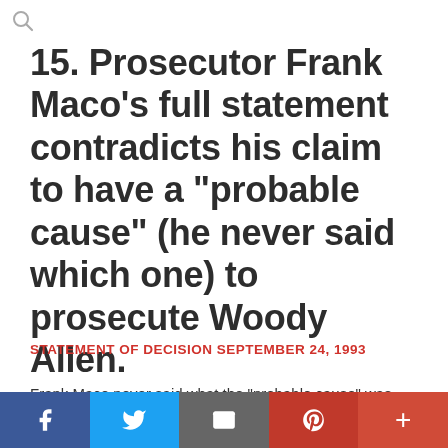[Figure (other): Search magnifier icon in top left corner]
15. Prosecutor Frank Maco’s full statement contradicts his claim to have a “probable cause” (he never said which one) to prosecute Woody Allen.
STATEMENT OF DECISION SEPTEMBER 24, 1993
Frank Maco never said what the “probable cause” was,
[Figure (infographic): Social media sharing bar with Facebook, Twitter, Email, Pinterest, and Plus buttons]